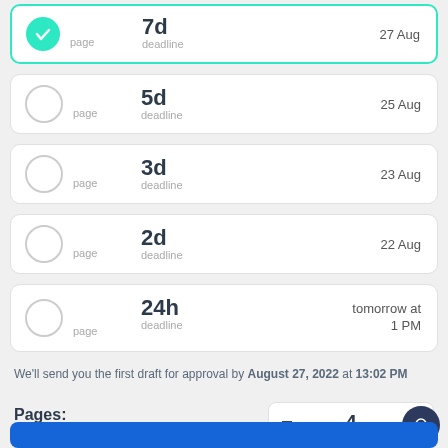7d deadline — 27 Aug (selected)
5d deadline — 25 Aug
3d deadline — 23 Aug
2d deadline — 22 Aug
24h deadline — tomorrow at 1 PM
We'll send you the first draft for approval by August 27, 2022 at 13:02 PM
Pages: 1000 words — 4